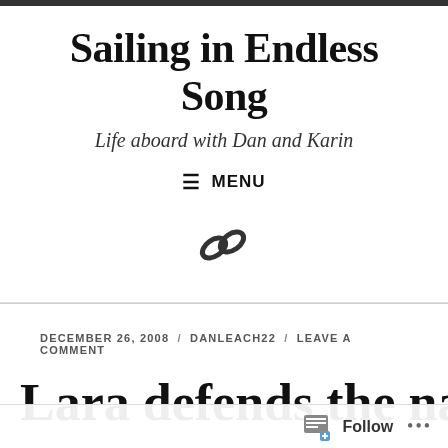Sailing in Endless Song
Life aboard with Dan and Karin
≡ MENU
[Figure (illustration): Chain link icon symbol]
DECEMBER 26, 2008 / DANLEACH22 / LEAVE A COMMENT
Lara defends the nation
Follow ...